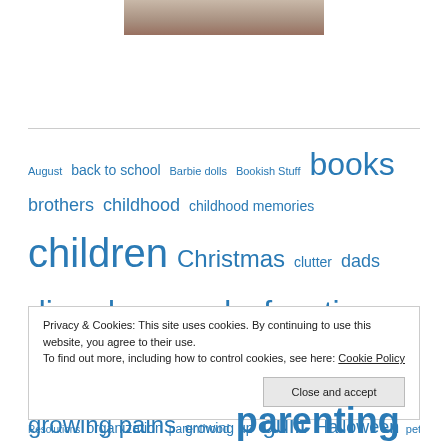[Figure (photo): Partial photo at top center, appears to show a person, cropped]
August back to school Barbie dolls Bookish Stuff books brothers childhood childhood memories children Christmas clutter dads disorder dogs dysfunction Easter essays fall family Father's Day frustration growing pains growing up guilt Halloween hoarding home Home Improvement humor husbands Katherine Center kidisms
Privacy & Cookies: This site uses cookies. By continuing to use this website, you agree to their use. To find out more, including how to control cookies, see here: Cookie Policy
Close and accept
Resolutions organization parenthood parenting pets Planet